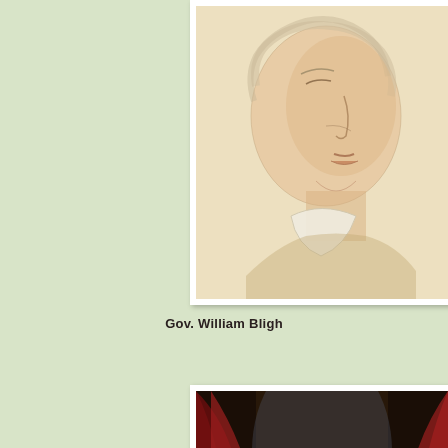[Figure (photo): Pencil or chalk sketch portrait of Gov. William Bligh, shown in profile facing right, elderly man with light/white hair, wearing a white cravat, on cream-colored paper background]
Gov. William Bligh
[Figure (photo): Oil painting portrait of a young man in early 19th century dress, wearing a black coat with a gold/yellow waistcoat and white cravat, set against a dark red curtain background]